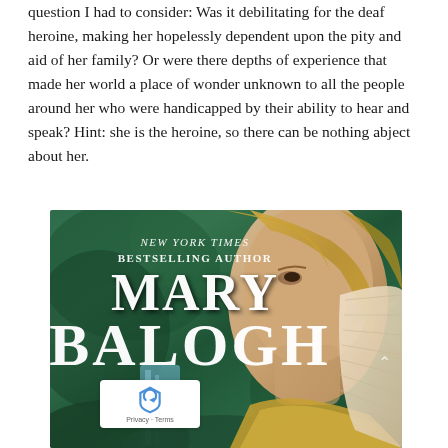question I had to consider: Was it debilitating for the deaf heroine, making her hopelessly dependent upon the pity and aid of her family? Or were there depths of experience that made her world a place of wonder unknown to all the people around her who were handicapped by their ability to hear and speak? Hint: she is the heroine, so there can be nothing abject about her.
[Figure (photo): Book cover for Mary Balogh novel. A blonde woman holds a decorative lace fan near her face. Text on cover reads: NEW YORK TIMES BESTSELLING AUTHOR, MARY BALOGH. Green forested background with waterfall.]